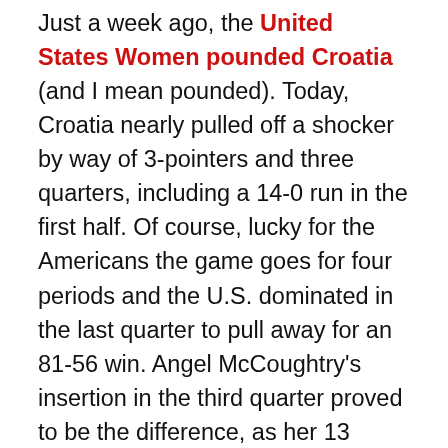Just a week ago, the United States Women pounded Croatia (and I mean pounded). Today, Croatia nearly pulled off a shocker by way of 3-pointers and three quarters, including a 14-0 run in the first half. Of course, lucky for the Americans the game goes for four periods and the U.S. dominated in the last quarter to pull away for an 81-56 win. Angel McCoughtry's insertion in the third quarter proved to be the difference, as her 13 points in 11 minutes sparked the Americans to the victory. When she entered the game with 4:48 to play in the third quarter the U.S. maintained a slim 39-36 lead. She added eight points in the quarter to give the team some breathing room heading into the final quarter. The fourth was the domination that many expected to see from the Americans, as they closed out the game outscoring Croatia 28-9 in the final period.